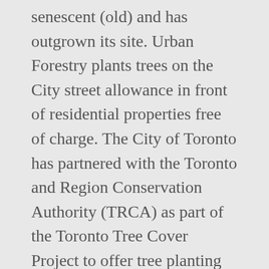senescent (old) and has outgrown its site. Urban Forestry plants trees on the City street allowance in front of residential properties free of charge. The City of Toronto has partnered with the Toronto and Region Conservation Authority (TRCA) as part of the Toronto Tree Cover Project to offer tree planting services to eligible industrial, commercial and institutional landowners on a cost-shared basis. Matey Matov | Toronto, Canada Area | Urban Forestry Standards Officer at City of Toronto | 120 connections | See Matey's complete profile on Linkedin and connect Landscaping, consisting of native trees and shrubs, will increase canopy cover and provide much needed green space for